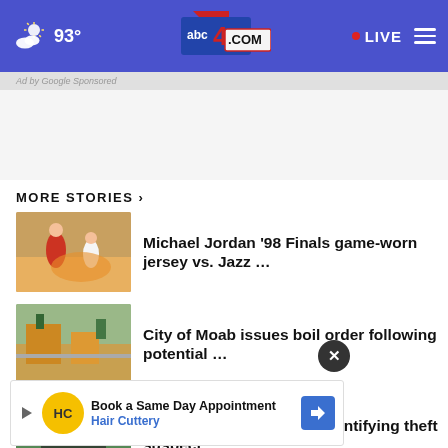93° abc4.com LIVE
MORE STORIES ›
[Figure (photo): Michael Jordan basketball action photo thumbnail]
Michael Jordan '98 Finals game-worn jersey vs. Jazz …
[Figure (photo): City of Moab street scene thumbnail]
City of Moab issues boil order following potential …
[Figure (photo): BYU building video thumbnail with play button]
BYU Police ask for help identifying theft suspect
[Figure (photo): Authorities search story thumbnail (partially visible)]
Authorities search for Utah m… on
[Figure (screenshot): Hair Cuttery advertisement - Book a Same Day Appointment]
Retired Utah assistant AG who